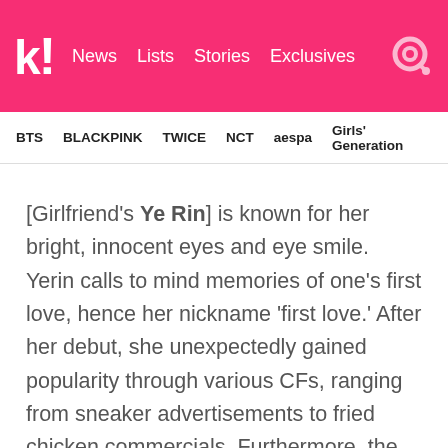k! News  Lists  Stories  Exclusives
BTS  BLACKPINK  TWICE  NCT  aespa  Girls' Generation
[Girlfriend's Ye Rin] is known for her bright, innocent eyes and eye smile. Yerin calls to mind memories of one's first love, hence her nickname 'first love.' After her debut, she unexpectedly gained popularity through various CFs, ranging from sneaker advertisements to fried chicken commercials. Furthermore, the combination of her pure appearance and comic dance performances during her appearance on the SBS variety show 'Running Man' further garnered the attentions of fans.